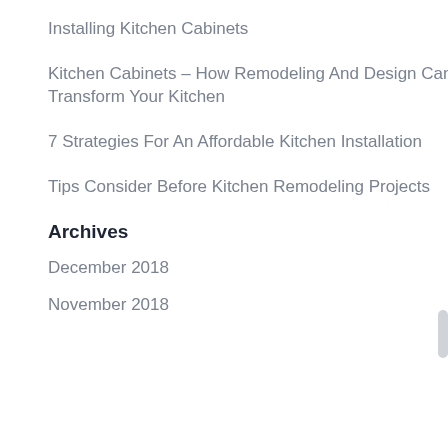Installing Kitchen Cabinets
Kitchen Cabinets – How Remodeling And Design Can Transform Your Kitchen
7 Strategies For An Affordable Kitchen Installation
Tips Consider Before Kitchen Remodeling Projects
Archives
December 2018
November 2018